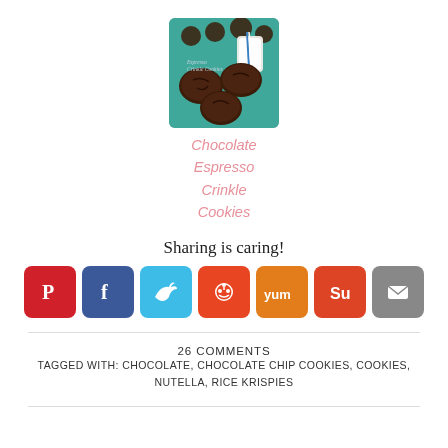[Figure (photo): Photo of chocolate espresso crinkle cookies on a teal background with a glass of milk]
Chocolate Espresso Crinkle Cookies
Sharing is caring!
[Figure (infographic): Social sharing buttons: Pinterest, Facebook, Twitter, Reddit, Yummly, StumbleUpon, Email]
26 COMMENTS
TAGGED WITH: CHOCOLATE, CHOCOLATE CHIP COOKIES, COOKIES, NUTELLA, RICE KRISPIES